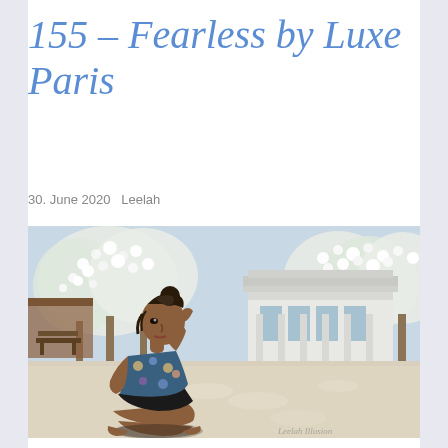155 - Fearless by Luxe Paris
30. June 2020   Leelah
[Figure (illustration): A digital/virtual world illustration showing a brown-skinned female avatar sitting on a light-colored plaza floor, covering one eye with her hand, wearing a floral top and black shorts. Background features blooming white cherry blossom trees, a white classical-style building with columns and large windows, red flower beds along a path, and a bench on the left.]